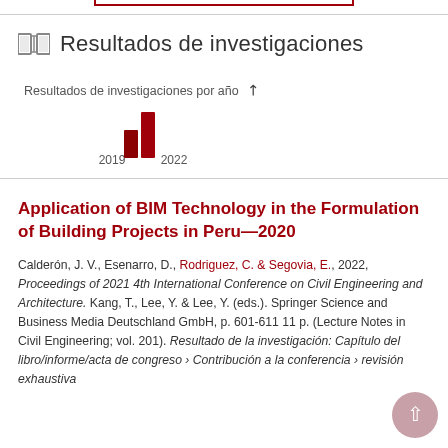Resultados de investigaciones
Resultados de investigaciones por año
[Figure (bar-chart): Resultados de investigaciones por año]
Application of BIM Technology in the Formulation of Building Projects in Peru—2020
Calderón, J. V., Esenarro, D., Rodriguez, C. & Segovia, E., 2022, Proceedings of 2021 4th International Conference on Civil Engineering and Architecture. Kang, T., Lee, Y. & Lee, Y. (eds.). Springer Science and Business Media Deutschland GmbH, p. 601-611 11 p. (Lecture Notes in Civil Engineering; vol. 201). Resultado de la investigación: Capítulo del libro/informe/acta de congreso › Contribución a la conferencia › revisión exhaustiva